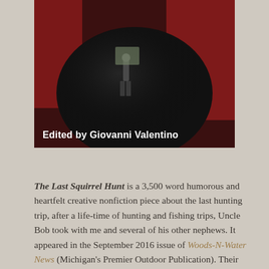[Figure (photo): Book cover photo showing a person in a dark coat seen from behind, reflected in a large black sphere, with red patterned fabric in the background. Text overlay reads 'Edited by Giovanni Valentino'.]
The Last Squirrel Hunt is a 3,500 word humorous and heartfelt creative nonfiction piece about the last hunting trip, after a life-time of hunting and fishing trips, Uncle Bob took with me and several of his other nephews. It appeared in the September 2016 issue of Woods-N-Water News (Michigan's Premier Outdoor Publication). Their